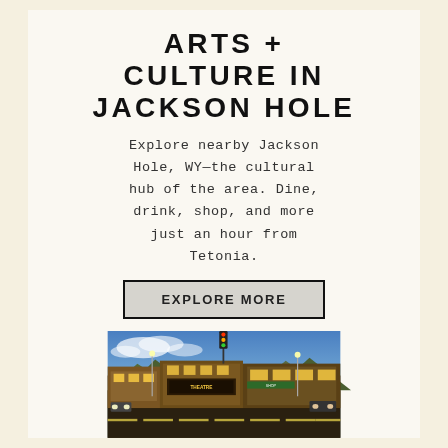ARTS + CULTURE IN JACKSON HOLE
Explore nearby Jackson Hole, WY—the cultural hub of the area. Dine, drink, shop, and more just an hour from Tetonia.
EXPLORE MORE
[Figure (photo): Street-level twilight photo of downtown Jackson Hole, WY showing illuminated storefronts, traffic lights, mountains in background, and a blue sky with clouds.]